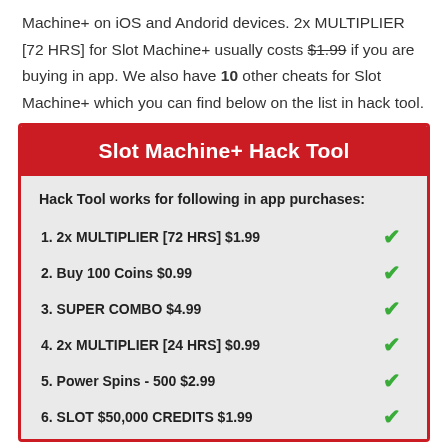Machine+ on iOS and Andorid devices. 2x MULTIPLIER [72 HRS] for Slot Machine+ usually costs $1.99 if you are buying in app. We also have 10 other cheats for Slot Machine+ which you can find below on the list in hack tool.
Slot Machine+ Hack Tool
Hack Tool works for following in app purchases:
1. 2x MULTIPLIER [72 HRS] $1.99
2. Buy 100 Coins $0.99
3. SUPER COMBO $4.99
4. 2x MULTIPLIER [24 HRS] $0.99
5. Power Spins - 500 $2.99
6. SLOT $50,000 CREDITS $1.99